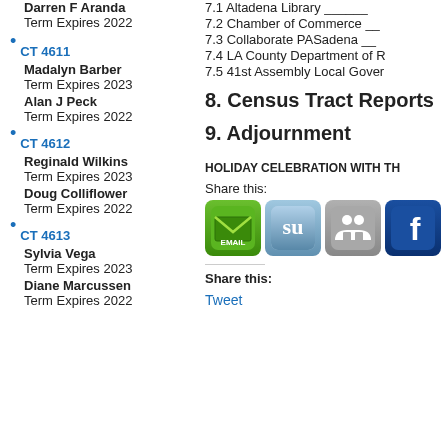Darrel F Aranda
Term Expires 2022
CT 4611
Madalyn Barber
Term Expires 2023
Alan J Peck
Term Expires 2022
CT 4612
Reginald Wilkins
Term Expires 2023
Doug Colliflower
Term Expires 2022
CT 4613
Sylvia Vega
Term Expires 2023
Diane Marcussen
Term Expires 2022
7.1 Altadena Library ____
7.2 Chamber of Commerce __
7.3 Collaborate PASadena __
7.4 LA County Department of R
7.5 41st Assembly Local Gover
8. Census Tract Reports
9. Adjournment
HOLIDAY CELEBRATION WITH TH
Share this:
[Figure (infographic): Social sharing icons: Email (green), StumbleUpon (blue-grey), LinkedIn (grey), Facebook (dark blue)]
Share this:
Tweet